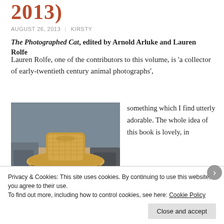2013)
AUGUST 26, 2013 | KIRSTY
The Photographed Cat, edited by Arnold Arluke and Lauren Rolfe
Lauren Rolfe, one of the contributors to this volume, is 'a collector of early-twentieth century animal photographs',
[Figure (photo): A fluffy cat wearing a straw cowboy hat and a blue bandana/neckerchief, photographed outdoors on a patio]
something which I find utterly adorable. The whole idea of this book is lovely, in
Privacy & Cookies: This site uses cookies. By continuing to use this website, you agree to their use.
To find out more, including how to control cookies, see here: Cookie Policy
Close and accept